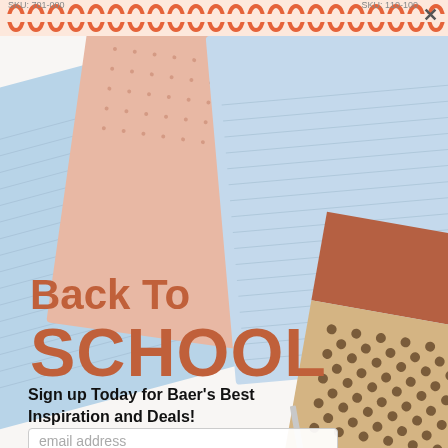SKU: 701-000   SKU: 110-100
[Figure (illustration): Back to school promotional popup with spiral-bound notebooks in light blue, peach/pink, and tan with polka dots arranged overlapping on a white background. Orange spiral binding rings run across the top.]
Back To SCHOOL
Sign up Today for Baer's Best Inspiration and Deals!
email address